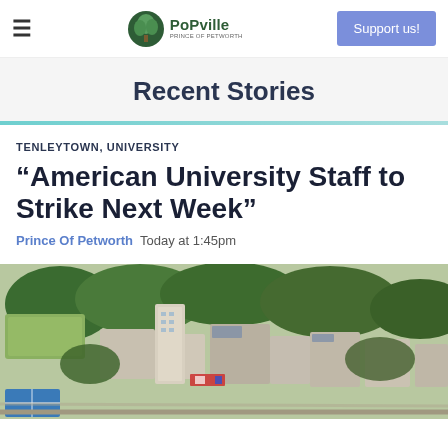PoPville (Prince of Petworth) — Support us!
Recent Stories
TENLEYTOWN, UNIVERSITY
“American University Staff to Strike Next Week”
Prince Of Petworth  Today at 1:45pm
[Figure (photo): Aerial view of American University campus and surrounding Tenleytown neighborhood in Washington DC, showing buildings, trees, sports fields, and rooftops]